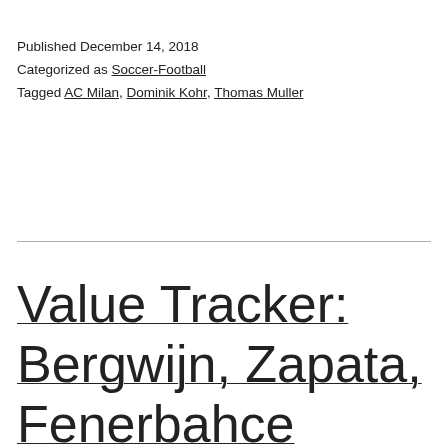Published December 14, 2018
Categorized as Soccer-Football
Tagged AC Milan, Dominik Kohr, Thomas Muller
Value Tracker: Bergwijn, Zapata, Fenerbahce